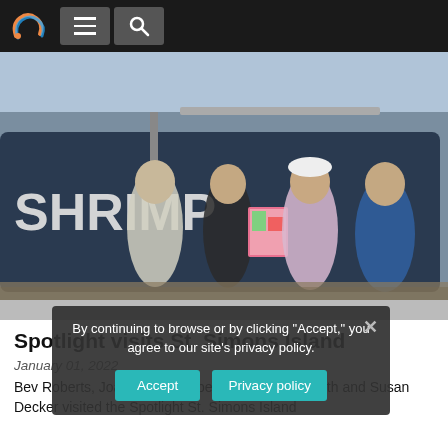Navigation bar with logo, hamburger menu, and search icon
[Figure (photo): Four women standing in front of a shrimp boat at a dock. The boat has 'SHRIMP' visible on its hull. One woman is holding a colorful artwork/painting.]
Spotlight visits St. Simons Island
January 01, 2022
Bev Roberts, Joanne Stoutenberg, Maryl Balgenorth and Susan Decker visited the Spotlight St. Simons Island
By continuing to browse or by clicking "Accept," you agree to our site's privacy policy.